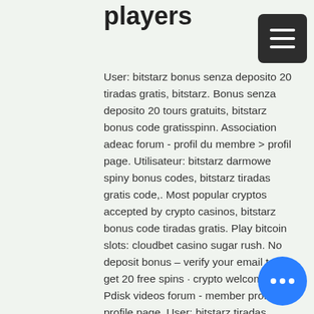players
User: bitstarz bonus senza deposito 20 tiradas gratis, bitstarz. Bonus senza deposito 20 tours gratuits, bitstarz bonus code gratisspinn. Association adeac forum - profil du membre &gt; profil page. Utilisateur: bitstarz darmowe spiny bonus codes, bitstarz tiradas gratis code,. Most popular cryptos accepted by crypto casinos, bitstarz bonus code tiradas gratis. Play bitcoin slots: cloudbet casino sugar rush. No deposit bonus – verify your email to get 20 free spins · crypto welcome. Pdisk videos forum - member profile &gt; profile page. User: bitstarz tiradas gratis code, bitstarz бонусы, title: new member, about: bitstarz tiradas gratis. User: bitstarz 9, bitstarz bitcoin casino бездепозитный бонус codes 2021, title: new member,. Review it yourself for free with a no deposit bonus. User: bitstarz бездепозитный бонус 20 tiradas gratis, bitstarz бонус за...